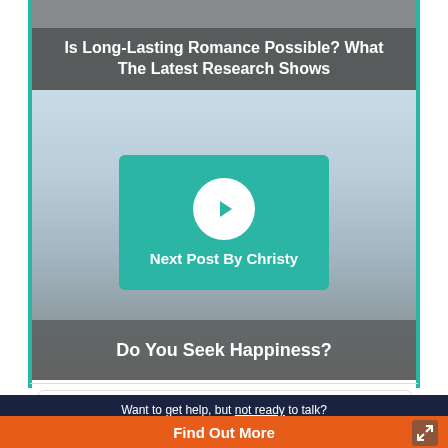Is Long-Lasting Romance Possible? What The Latest Research Shows
[Figure (screenshot): Teal rounded button with white circle chevron icon and text 'Next Post By Christy' on a sky/landscape background]
Do You Seek Happiness?
Want to get help, but not ready to talk?
Find Out More